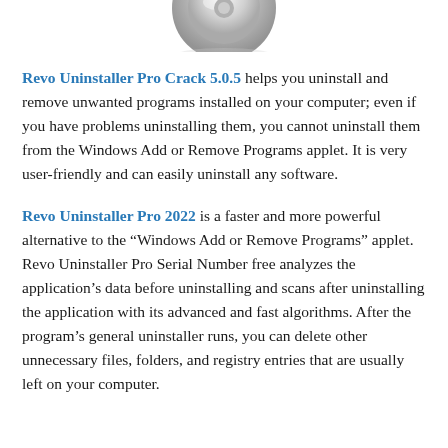[Figure (photo): Partial view of Revo Uninstaller Pro software logo/icon at the top of the page, showing bottom portion of a circular icon with metallic appearance.]
Revo Uninstaller Pro Crack 5.0.5 helps you uninstall and remove unwanted programs installed on your computer; even if you have problems uninstalling them, you cannot uninstall them from the Windows Add or Remove Programs applet. It is very user-friendly and can easily uninstall any software.
Revo Uninstaller Pro 2022 is a faster and more powerful alternative to the “Windows Add or Remove Programs” applet. Revo Uninstaller Pro Serial Number free analyzes the application’s data before uninstalling and scans after uninstalling the application with its advanced and fast algorithms. After the program’s general uninstaller runs, you can delete other unnecessary files, folders, and registry entries that are usually left on your computer.